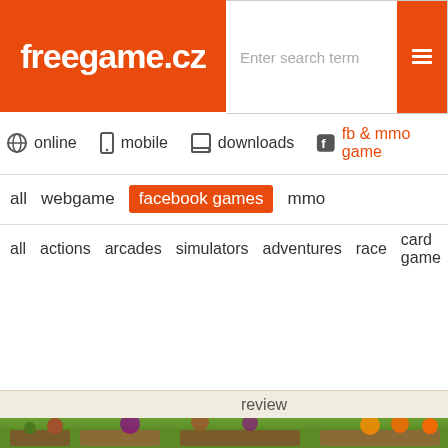freegame.cz
Enter search term
online
mobile
downloads
fb & mmo game
all  webgame  facebook games  mmo
all  actions  arcades  simulators  adventures  race  card game  logic
review
[Figure (screenshot): Farm game screenshot showing crops including onions, tomatoes, and other vegetables in a Facebook farming game]